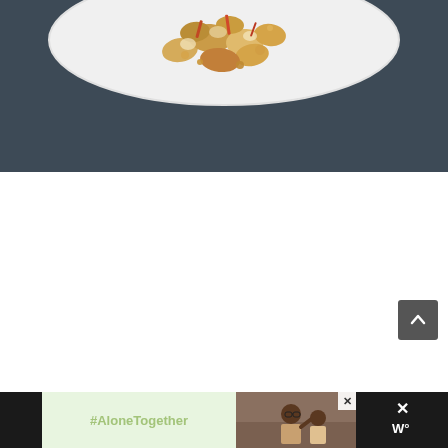[Figure (photo): Top-down view of a white plate with popcorn or grain dish with red/orange toppings on a dark blue-grey background, partially visible (top portion of image)]
[Figure (screenshot): Scroll-to-top button: dark grey square with upward-pointing chevron arrow, positioned in lower right area of page]
[Figure (screenshot): Advertisement banner at bottom: dark left strip, light green section with '#AloneTogether' text, photo of father and daughter waving, close button, dark right section with X and stylized W logo]